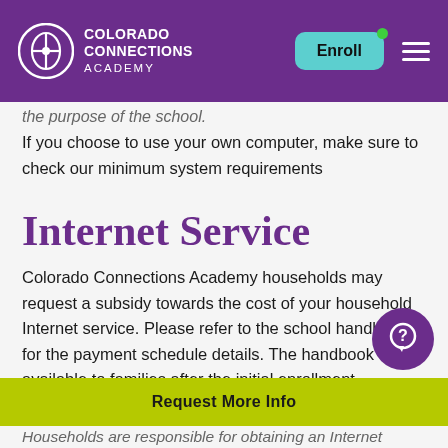Colorado Connections Academy — Enroll
the purpose of the school.
If you choose to use your own computer, make sure to check our minimum system requirements
Internet Service
Colorado Connections Academy households may request a subsidy towards the cost of your household Internet service. Please refer to the school handbook for the payment schedule details. The handbook available to families after the initial enrollment registration.
Households are responsible for obtaining an Internet